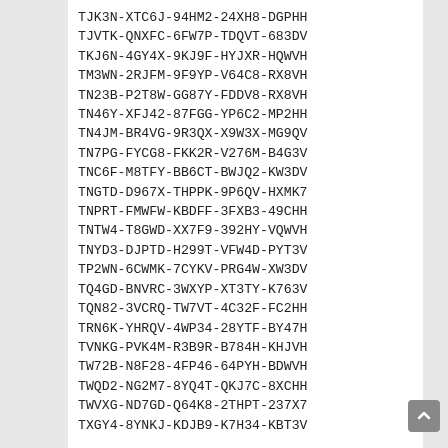TJK3N-XTC6J-94HM2-24XH8-DGPHH
TJVTK-QNXFC-6FW7P-TDQVT-683DV
TKJ6N-4GY4X-9KJ9F-HYJXR-HQWVH
TM3WN-2RJFM-9F9YP-V64C8-RX8VH
TN23B-P2T8W-GG87Y-FDDV8-RX8VH
TN46Y-XFJ42-87FGG-YP6C2-MP2HH
TN4JM-BR4VG-9R3QX-X9W3X-MG9QV
TN7PG-FYCG8-FKK2R-V276M-B4G3V
TNC6F-M8TFY-BB6CT-BWJQ2-KW3DV
TNGTD-D967X-THPPK-9P6QV-HXMK7
TNPRT-FMWFW-KBDFF-3FXB3-49CHH
TNTW4-T8GWD-XX7F9-392HY-VQWVH
TNYD3-DJPTD-H299T-VFW4D-PYT3V
TP2WN-6CWMK-7CYKV-PRG4W-XW3DV
TQ4GD-BNVRC-3WXYP-XT3TY-K763V
TQN82-3VCRQ-TW7VT-4C32F-FC2HH
TRN6K-YHRQV-4WP34-28YTF-BY47H
TVNKG-PVK4M-R3B9R-B784H-KHJVH
TW72B-N8F28-4FP46-64PYH-BDWVH
TWQD2-NG2M7-8YQ4T-QKJ7C-8XCHH
TWVXG-ND7GD-Q64K8-2THPT-237X7
TXGY4-8YNKJ-KDJB9-K7H34-KBT3V